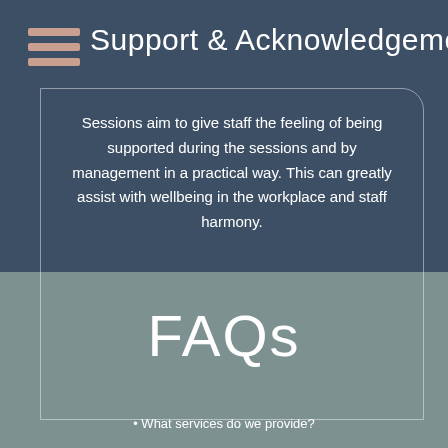Support & Acknowledgement
Sessions aim to give staff the feeling of being supported during the sessions and by management in a practical way. This can greatly assist with wellbeing in the workplace and staff harmony.
FAQs
• What services do we provide?